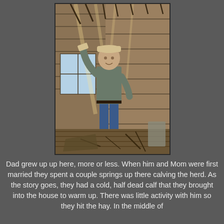[Figure (photo): A man standing inside an old, dilapidated wooden barn or shed. He is smiling and holding something up. The barn interior has weathered wooden plank walls and a wooden floor covered with debris and broken wood pieces. Light streams in through gaps in the roof and a window on the left side.]
Dad grew up up here, more or less. When him and Mom were first married they spent a couple springs up there calving the herd. As the story goes, they had a cold, half dead calf that they brought into the house to warm up. There was little activity with him so they hit the hay. In the middle of